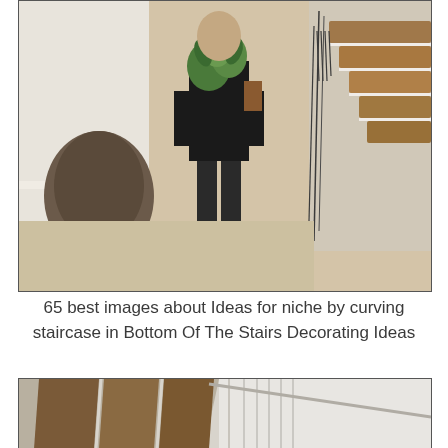[Figure (photo): Person in black outfit holding green plant/bouquet standing on beige marble floor near curved staircase with wooden steps and wrought iron railing]
65 best images about Ideas for niche by curving staircase in Bottom Of The Stairs Decorating Ideas
[Figure (photo): Underside view of modern floating staircase with dark wooden steps and white walls/railings]